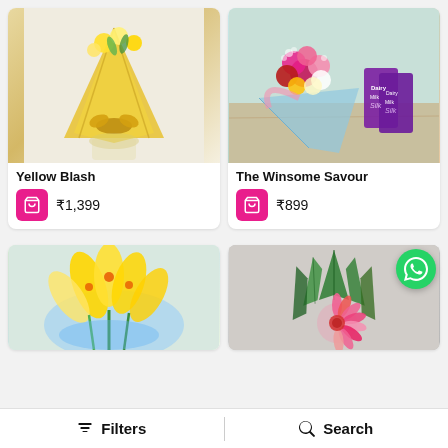[Figure (photo): Yellow flower bouquet wrapped in yellow paper with gold ribbon bow, placed in a glass vase against a white brick wall]
Yellow Blash
₹1,399
[Figure (photo): Colorful mixed flower bouquet with pink, red, white, and yellow roses with baby's breath, wrapped in blue paper, alongside two Dairy Milk Silk chocolate bars on wooden surface]
The Winsome Savour
₹899
[Figure (photo): Yellow lily bouquet with blue tissue paper wrapping, partially visible]
[Figure (photo): Pink gerbera flower arrangement with large tropical green leaves in geometric pattern, partially visible]
Filters  |  Search